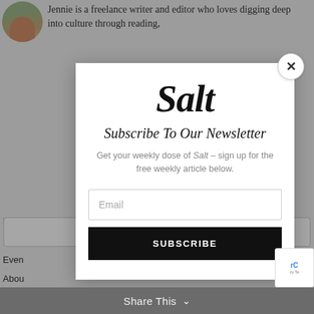Jennie is a freelance writer and editor who loves digging deep into culture through reading,
PREV    ARTICLE
Even
Abou
Cont
Subsc
Salt
Subscribe To Our Newsletter
Get your weekly dose of Salt – sign up for the free weekly article below.
Email
SUBSCRIBE
Share This ∨